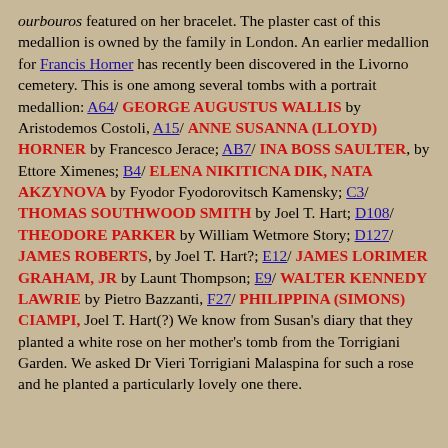ourbouros featured on her bracelet. The plaster cast of this medallion is owned by the family in London. An earlier medallion for Francis Horner has recently been discovered in the Livorno cemetery. This is one among several tombs with a portrait medallion: A64/ GEORGE AUGUSTUS WALLIS by Aristodemos Costoli, A15/ ANNE SUSANNA (LLOYD) HORNER by Francesco Jerace; AB7/ INA BOSS SAULTER, by Ettore Ximenes; B4/ ELENA NIKITICNA DIK, NATA AKZYNOVA by Fyodor Fyodorovitsch Kamensky; C3/ THOMAS SOUTHWOOD SMITH by Joel T. Hart; D108/ THEODORE PARKER by William Wetmore Story; D127/ JAMES ROBERTS, by Joel T. Hart?; E12/ JAMES LORIMER GRAHAM, JR by Launt Thompson; E9/ WALTER KENNEDY LAWRIE by Pietro Bazzanti, F27/ PHILIPPINA (SIMONS) CIAMPI, Joel T. Hart(?) We know from Susan's diary that they planted a white rose on her mother's tomb from the Torrigiani Garden. We asked Dr Vieri Torrigiani Malaspina for such a rose and he planted a particularly lovely one there.